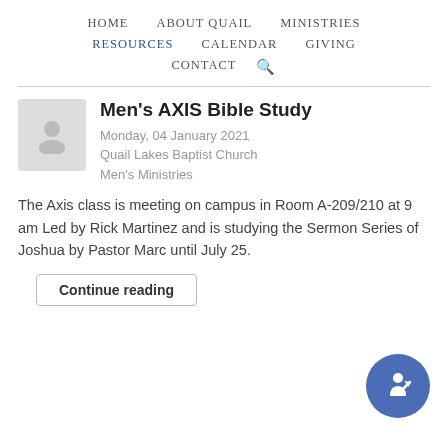HOME   ABOUT QUAIL   MINISTRIES   RESOURCES   CALENDAR   GIVING   CONTACT
Men's AXIS Bible Study
Monday, 04 January 2021
Quail Lakes Baptist Church
Men's Ministries
The Axis class is meeting on campus in Room A-209/210 at 9 am Led by Rick Martinez and is studying the Sermon Series of Joshua by Pastor Marc until July 25.
Continue reading